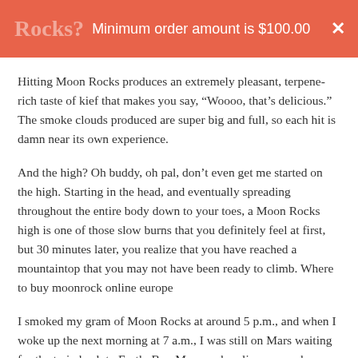Rocks? Minimum order amount is $100.00 ×
Hitting Moon Rocks produces an extremely pleasant, terpene-rich taste of kief that makes you say, “Woooo, that’s delicious.” The smoke clouds produced are super big and full, so each hit is damn near its own experience.
And the high? Oh buddy, oh pal, don’t even get me started on the high. Starting in the head, and eventually spreading throughout the entire body down to your toes, a Moon Rocks high is one of those slow burns that you definitely feel at first, but 30 minutes later, you realize that you have reached a mountaintop that you may not have been ready to climb. Where to buy moonrock online europe
I smoked my gram of Moon Rocks at around 5 p.m., and when I woke up the next morning at 7 a.m., I was still on Mars waiting for the train back to Earth. Buy Moonrock online europe buy zodiak